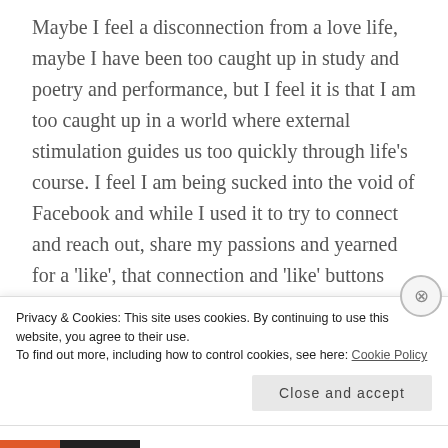Maybe I feel a disconnection from a love life, maybe I have been too caught up in study and poetry and performance, but I feel it is that I am too caught up in a world where external stimulation guides us too quickly through life's course. I feel I am being sucked into the void of Facebook and while I used it to try to connect and reach out, share my passions and yearned for a 'like', that connection and 'like' buttons clicked, hasn't been enough. I shared on Facebook things that excite me, things I am passionate about, things that trigger in me human responses and I wanted to trigger those things in other people. And maybe I did. But what was lacking was the mutual
Privacy & Cookies: This site uses cookies. By continuing to use this website, you agree to their use.
To find out more, including how to control cookies, see here: Cookie Policy
Close and accept